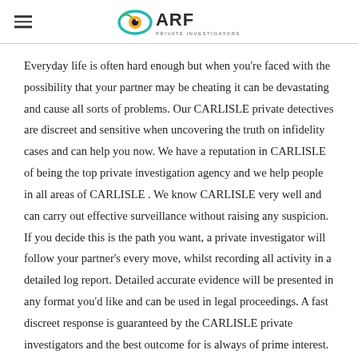ARF PRIVATE INVESTIGATORS
Everyday life is often hard enough but when you're faced with the possibility that your partner may be cheating it can be devastating and cause all sorts of problems. Our CARLISLE private detectives are discreet and sensitive when uncovering the truth on infidelity cases and can help you now. We have a reputation in CARLISLE of being the top private investigation agency and we help people in all areas of CARLISLE . We know CARLISLE very well and can carry out effective surveillance without raising any suspicion. If you decide this is the path you want, a private investigator will follow your partner's every move, whilst recording all activity in a detailed log report. Detailed accurate evidence will be presented in any format you'd like and can be used in legal proceedings. A fast discreet response is guaranteed by the CARLISLE private investigators and the best outcome for is always of prime interest.